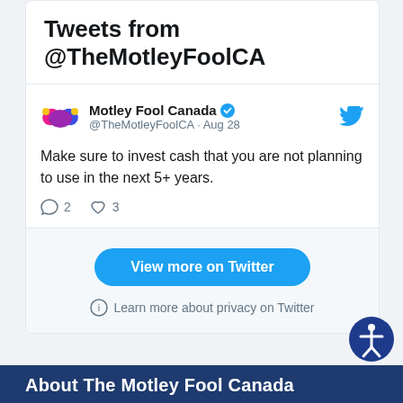Tweets from @TheMotleyFoolCA
Motley Fool Canada @TheMotleyFoolCA · Aug 28
Make sure to invest cash that you are not planning to use in the next 5+ years.
2 replies · 3 likes
View more on Twitter
Learn more about privacy on Twitter
About The Motley Fool Canada